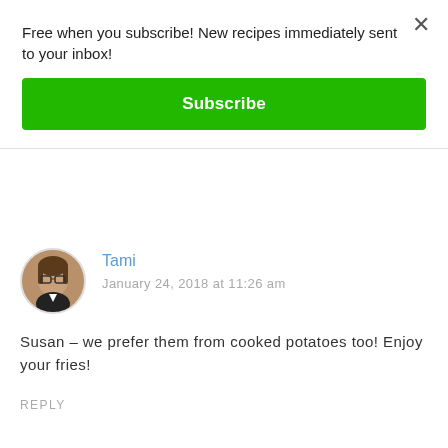Free when you subscribe! New recipes immediately sent to your inbox!
Subscribe
Tami
January 24, 2018 at 11:26 am
Susan – we prefer them from cooked potatoes too! Enjoy your fries!
REPLY